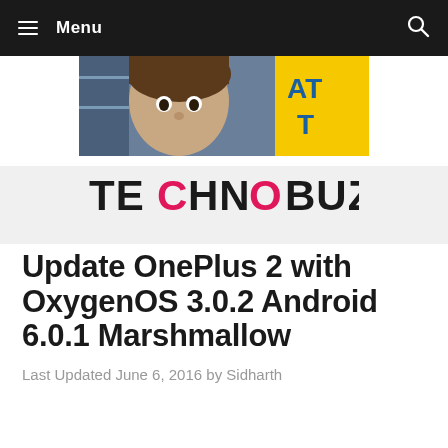Menu
[Figure (photo): Advertisement banner showing a child's face and yellow panel with letters 'AT' and 'T' partially visible]
[Figure (logo): TECHNOBUZZ logo in bold dark font with pink/magenta colored letters C and O]
Update OnePlus 2 with OxygenOS 3.0.2 Android 6.0.1 Marshmallow
Last Updated June 6, 2016 by Sidharth